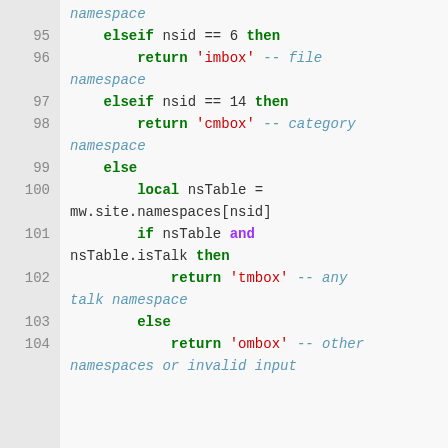[Figure (screenshot): Source code listing in Lua/scripting language, lines 95-104, showing elseif/else conditionals checking namespace IDs and returning message box type strings.]